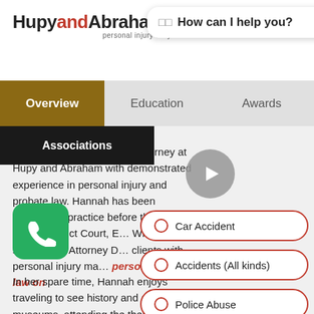HupyandAbraham s.c. personal injury lawyers
How can I help you?
Overview
Education
Awards
Associations
Hannah Dockendorff is an attorney at Hupy and Abraham with demonstrated experience in personal injury and probate law. Hannah has been admitted to practice before the United States District Court, Eastern District of Wisconsin since 2017. Attorney Dockendorff assists clients with personal injury matters and focuses her personal injury law on
Car Accident
Accidents (All kinds)
Police Abuse
In her spare time, Hannah enjoys traveling to see history and art museums, attending the theater,